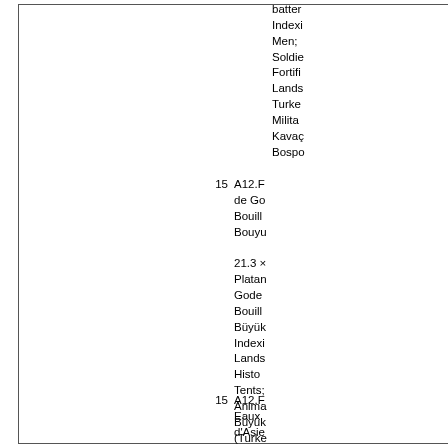batter; Indexing Men; Soldiers; Fortifications; Landscape; Turkey; Military; Kavağı; Bosporus
15  A12.F de Go Bouill Bouyu
21.3 x Platan Gode Bouill Büyük Indexi Lands Histo Tents; Anima Büyük (Turke
15  A12.F Eaux d'Asie
20.9 x Duplic